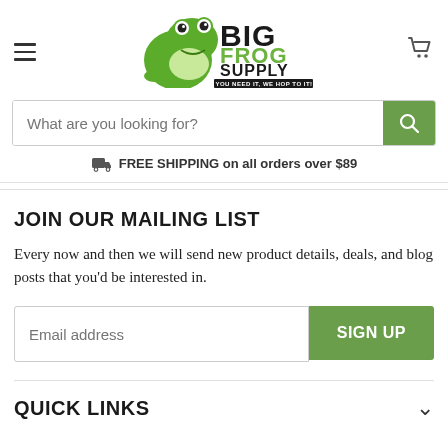[Figure (logo): Big Frog Supply logo with green frog illustration and text 'BIG FROG SUPPLY — YOU NEED IT, WE HOP TO IT!']
What are you looking for?
FREE SHIPPING on all orders over $89
JOIN OUR MAILING LIST
Every now and then we will send new product details, deals, and blog posts that you'd be interested in.
Email address
SIGN UP
QUICK LINKS